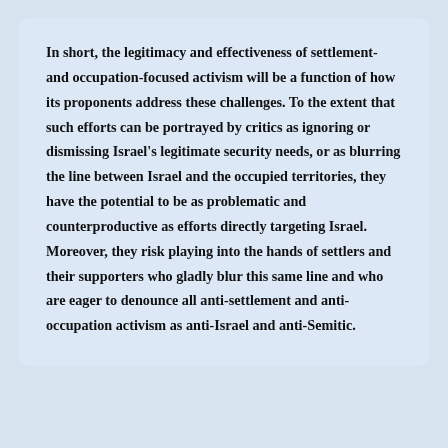In short, the legitimacy and effectiveness of settlement- and occupation-focused activism will be a function of how its proponents address these challenges. To the extent that such efforts can be portrayed by critics as ignoring or dismissing Israel's legitimate security needs, or as blurring the line between Israel and the occupied territories, they have the potential to be as problematic and counterproductive as efforts directly targeting Israel. Moreover, they risk playing into the hands of settlers and their supporters who gladly blur this same line and who are eager to denounce all anti-settlement and anti-occupation activism as anti-Israel and anti-Semitic.